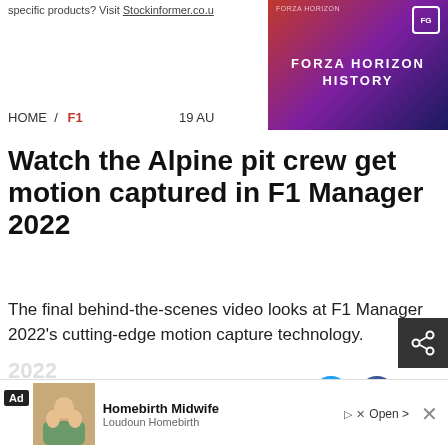specific products? Visit Stockinformer.co.u
[Figure (screenshot): Forza Horizon History advertisement banner with dark purple/red gradient background and game branding]
HOME / F1   19 AU
Watch the Alpine pit crew get motion captured in F1 Manager 2022
The final behind-the-scenes video looks at F1 Manager 2022's cutting-edge motion capture technology.
By Martin Bigg
We're counting down the days until F1 Manager
[Figure (infographic): Bottom advertisement for Homebirth Midwife / Loudoun Homebirth with Ad label, family photo, and Open button]